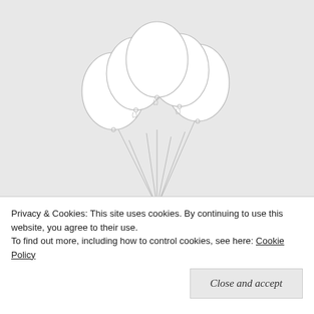[Figure (illustration): Line drawing of a bunch of balloons with strings and bow ties, rendered in white/light gray on a gray background, positioned at the top center of the page.]
MENU
THEKINGSWIFE
Privacy & Cookies: This site uses cookies. By continuing to use this website, you agree to their use.
To find out more, including how to control cookies, see here: Cookie Policy
Close and accept